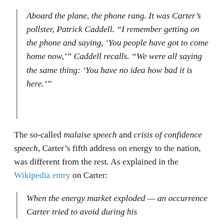Aboard the plane, the phone rang. It was Carter’s pollster, Patrick Caddell. “I remember getting on the phone and saying, ‘You people have got to come home now,’” Caddell recalls. “We were all saying the same thing: ‘You have no idea how bad it is here.’”
The so-called malaise speech and crisis of confidence speech, Carter’s fifth address on energy to the nation, was different from the rest. As explained in the Wikipedia entry on Carter:
When the energy market exploded — an occurrence Carter tried to avoid during his